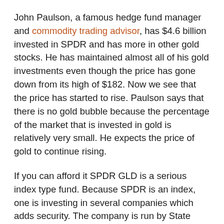John Paulson, a famous hedge fund manager and commodity trading advisor, has $4.6 billion invested in SPDR and has more in other gold stocks. He has maintained almost all of his gold investments even though the price has gone down from its high of $182. Now we see that the price has started to rise. Paulson says that there is no gold bubble because the percentage of the market that is invested in gold is relatively very small. He expects the price of gold to continue rising.
If you can afford it SPDR GLD is a serious index type fund. Because SPDR is an index, one is investing in several companies which adds security. The company is run by State Street Global Advisors. If one company suffers a tragedy and goes down, the other companies will balance out the damage.
Some of the managers are Jacques M. Longerstaey, Steven